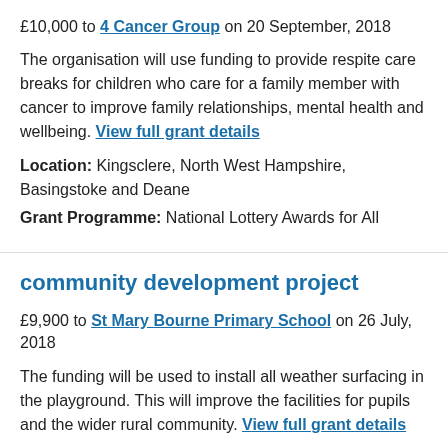£10,000 to 4 Cancer Group on 20 September, 2018
The organisation will use funding to provide respite care breaks for children who care for a family member with cancer to improve family relationships, mental health and wellbeing. View full grant details
Location: Kingsclere, North West Hampshire, Basingstoke and Deane
Grant Programme: National Lottery Awards for All
community development project
£9,900 to St Mary Bourne Primary School on 26 July, 2018
The funding will be used to install all weather surfacing in the playground. This will improve the facilities for pupils and the wider rural community. View full grant details
Location: Burghclere, Highclere and St Mary Bourne